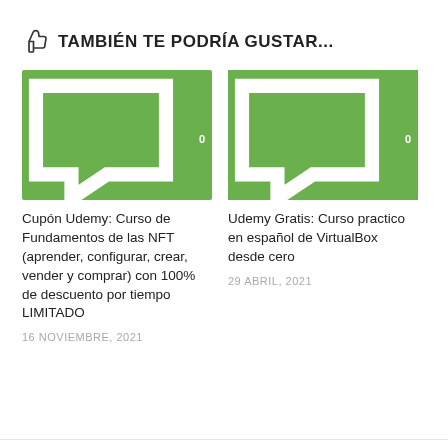TAMBIÉN TE PODRÍA GUSTAR...
[Figure (illustration): Illustrated cartoon of diverse people working with computers and technology, representing digital/NFT course]
[Figure (illustration): VirtualBox branded 3D cube logos with Oracle VirtualBox branding on a blue technology background]
Cupón Udemy: Curso de Fundamentos de las NFT (aprender, configurar, crear, vender y comprar) con 100% de descuento por tiempo LIMITADO
16 NOVIEMBRE, 2021
Udemy Gratis: Curso practico en español de VirtualBox desde cero
29 ABRIL, 2021